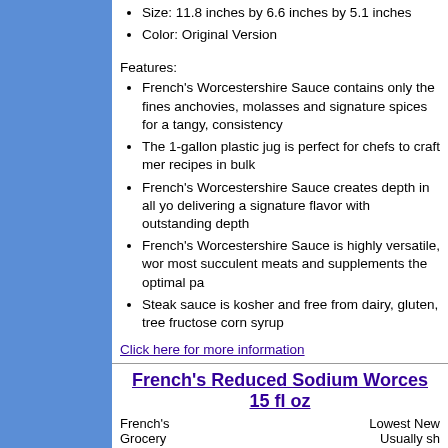Size: 11.8 inches by 6.6 inches by 5.1 inches
Color: Original Version
Features:
French's Worcestershire Sauce contains only the finest anchovies, molasses and signature spices for a tangy, consistency
The 1-gallon plastic jug is perfect for chefs to craft menu recipes in bulk
French's Worcestershire Sauce creates depth in all yo delivering a signature flavor with outstanding depth
French's Worcestershire Sauce is highly versatile, wor most succulent meats and supplements the optimal pa
Steak sauce is kosher and free from dairy, gluten, tree fructose corn syrup
Click here for more information
French's Reduced Sodium Worces 15 fl oz
French's Grocery
Lowest New Usually sh *(As of 01:22
[Figure (photo): Bottle of French's Reduced Sodium Worcestershire Sauce, dark bottle with green cap]